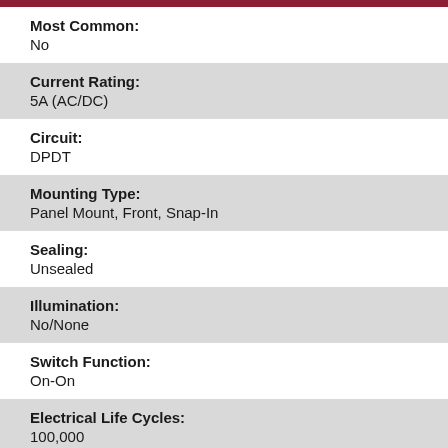Most Common: No
Current Rating: 5A (AC/DC)
Circuit: DPDT
Mounting Type: Panel Mount, Front, Snap-In
Sealing: Unsealed
Illumination: No/None
Switch Function: On-On
Electrical Life Cycles: 100,000
Voltage Rating - AC: 120V
Voltage Rating - DC: